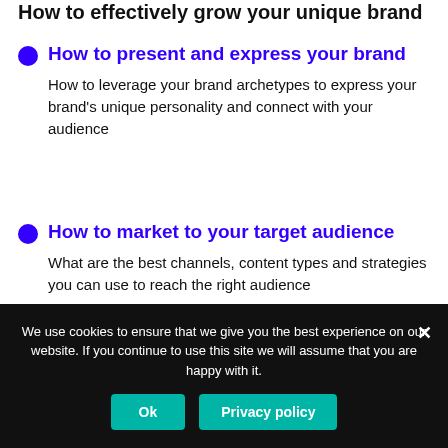How to effectively grow your unique brand
How to present and express your brand
How to leverage your brand archetypes to express your brand's unique personality and connect with your audience
How to market to your target audience
What are the best channels, content types and strategies you can use to reach the right audience
We use cookies to ensure that we give you the best experience on our website. If you continue to use this site we will assume that you are happy with it.